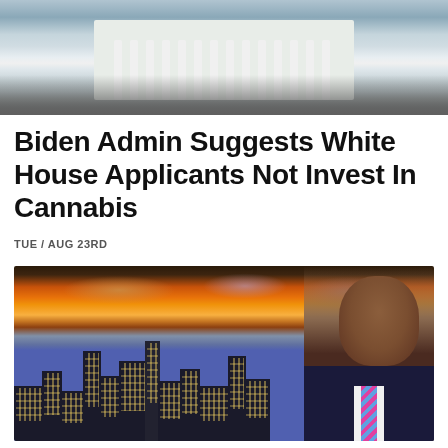[Figure (photo): Photo of the White House exterior with columns and lawn, aerial/frontal view]
Biden Admin Suggests White House Applicants Not Invest In Cannabis
TUE / AUG 23RD
[Figure (photo): Photo of NYC skyline at sunset with a smiling man in a dark suit and striped pink tie in the foreground on the right]
New York City Launches Program for Cannabis Social Equity Applicants